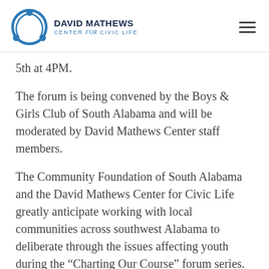DAVID MATHEWS CENTER for CIVIC LIFE
5th at 4PM.
The forum is being convened by the Boys & Girls Club of South Alabama and will be moderated by David Mathews Center staff members.
The Community Foundation of South Alabama and the David Mathews Center for Civic Life greatly anticipate working with local communities across southwest Alabama to deliberate through the issues affecting youth during the “Charting Our Course” forum series. This forum series